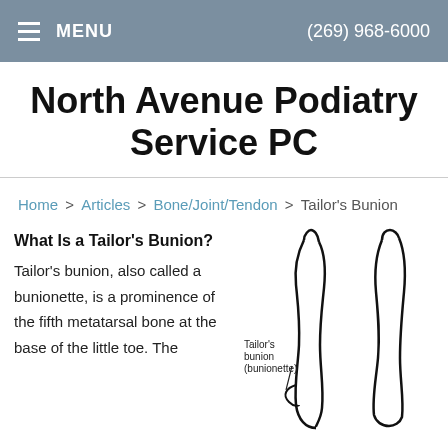MENU   (269) 968-6000
North Avenue Podiatry Service PC
Home > Articles > Bone/Joint/Tendon > Tailor's Bunion
What Is a Tailor's Bunion?
Tailor's bunion, also called a bunionette, is a prominence of the fifth metatarsal bone at the base of the little toe. The
[Figure (illustration): Medical illustration of a foot showing the location of Tailor's bunion (bunionette) at the base of the little toe, labeled with an arrow pointing to 'Tailor's bunion (bunionette)'.]